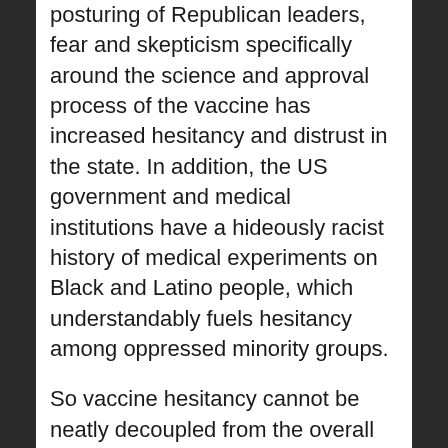posturing of Republican leaders, fear and skepticism specifically around the science and approval process of the vaccine has increased hesitancy and distrust in the state. In addition, the US government and medical institutions have a hideously racist history of medical experiments on Black and Latino people, which understandably fuels hesitancy among oppressed minority groups.
So vaccine hesitancy cannot be neatly decoupled from the overall collapse of trust in institutions that has accompanied the crisis of capitalism on a world scale. A recent Edleman poll of 27 countries found that 57% of respondents believe that the government leaders are "purposely trying to mislead people by saying things they know are false." It is no surprise that institutions like the CDC and the FDA, not to mention the federal